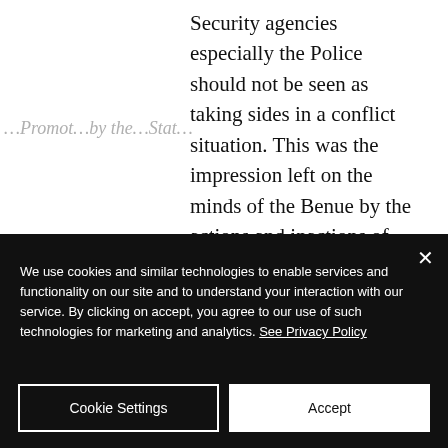Security agencies especially the Police should not be seen as taking sides in a conflict situation. This was the impression left on the minds of the Benue by the actions and inactions of the Police especially the Inspector General.
The straw that broke the camel’s back was the visit of the President to the State on Monday, the 12th day of March, 2018. During the interactive
We use cookies and similar technologies to enable services and functionality on our site and to understand your interaction with our service. By clicking on accept, you agree to our use of such technologies for marketing and analytics. See Privacy Policy